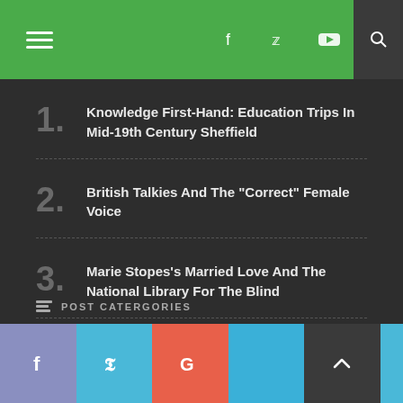LOGOTYPE — navigation header with social icons
1. Knowledge First-Hand: Education Trips In Mid-19th Century Sheffield
2. British Talkies And The "Correct" Female Voice
3. Marie Stopes's Married Love And The National Library For The Blind
4. Notes From The Classroom: Reflecting On Foucault's Biopolitics In 2022
POST CATERGORIES
Social share buttons: Facebook, Twitter, Google, LinkedIn, Back to top